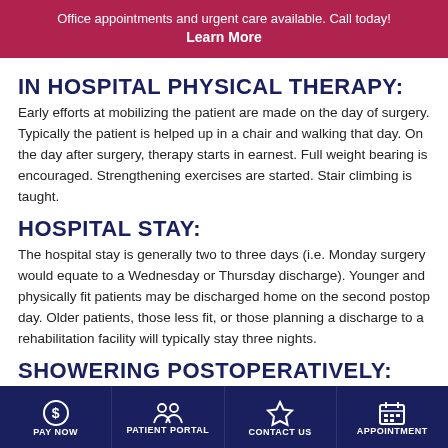Office appointments and urgent care available. Call today! Learn More
IN HOSPITAL PHYSICAL THERAPY:
Early efforts at mobilizing the patient are made on the day of surgery. Typically the patient is helped up in a chair and walking that day. On the day after surgery, therapy starts in earnest. Full weight bearing is encouraged. Strengthening exercises are started. Stair climbing is taught.
HOSPITAL STAY:
The hospital stay is generally two to three days (i.e. Monday surgery would equate to a Wednesday or Thursday discharge). Younger and physically fit patients may be discharged home on the second postop day. Older patients, those less fit, or those planning a discharge to a rehabilitation facility will typically stay three nights.
SHOWERING POSTOPERATIVELY:
PAY NOW | PATIENT PORTAL | CONTACT US | APPOINTMENT